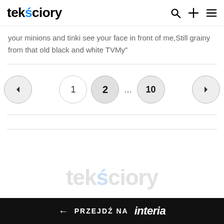tekściory
your minions and tinki see your face in front of me,Still grainy from that old black and white TVMy"
[Figure (screenshot): Pagination controls with previous arrow, page numbers 1, 2 (active), ellipsis, 10, and next arrow]
← PRZEJDŹ NA interia